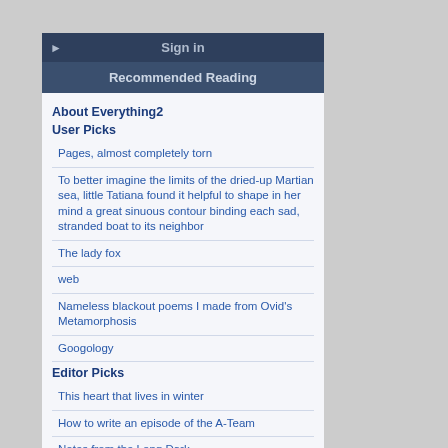Sign in
Recommended Reading
About Everything2
User Picks
Pages, almost completely torn
To better imagine the limits of the dried-up Martian sea, little Tatiana found it helpful to shape in her mind a great sinuous contour binding each sad, stranded boat to its neighbor
The lady fox
web
Nameless blackout poems I made from Ovid's Metamorphosis
Googology
Editor Picks
This heart that lives in winter
How to write an episode of the A-Team
Notes from the Long Dark
A message from sensei
Mountain Dew
Unemployment compensation
New Writeups